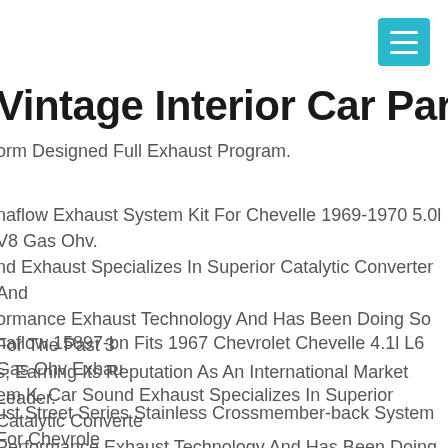[Figure (other): Hamburger menu button, teal/cyan colored square with three white horizontal lines]
Vintage Interior Car Parts
orm Designed Full Exhaust Program.
naflow Exhaust System Kit For Chevelle 1969-1970 5.0l V8 Gas Ohv. nd Exhaust Specializes In Superior Catalytic Converter And ormance Exhaust Technology And Has Been Doing So For The Past 3 s, Earning Its Reputation As An International Market Leader.
naflow 15897-bn Fits 1967 Chevrolet Chevelle 4.1l L6 Gas Ohv Exhau em K. Car Sound Exhaust Specializes In Superior Catalytic Converte Performance Exhaust Technology And Has Been Doing So For The P Years, Earning Its Reputation As An International Market Leader.
ust Street Series Stainless Crossmember-back System For Chevrole velle 1. Car Sound Exhaust Specializes In Superior Catalytic Convert Performance Exhaust Technology And Has Been Doing So For The P Years, Earning Its Reputation As An International Market Leader.